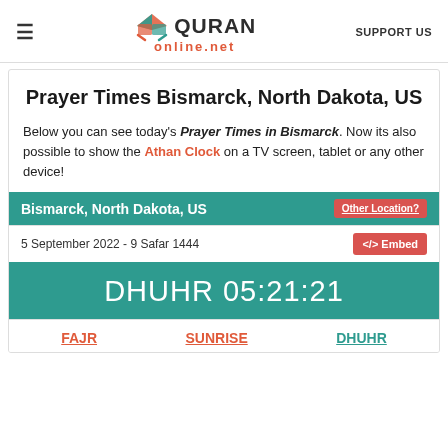≡  QURAN online.net  SUPPORT US
Prayer Times Bismarck, North Dakota, US
Below you can see today's Prayer Times in Bismarck. Now its also possible to show the Athan Clock on a TV screen, tablet or any other device!
Bismarck, North Dakota, US  Other Location?
5 September 2022 - 9 Safar 1444
DHUHR 05:21:21
FAJR  SUNRISE  DHUHR